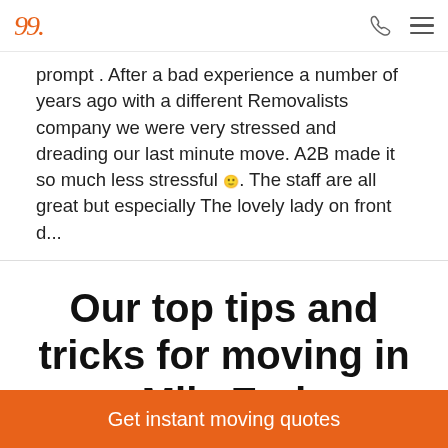A2B Removals logo, phone icon, menu icon
prompt . After a bad experience a number of years ago with a different Removalists company we were very stressed and dreading our last minute move. A2B made it so much less stressful 🙂. The staff are all great but especially The lovely lady on front d...
Our top tips and tricks for moving in Mile End
Get instant moving quotes